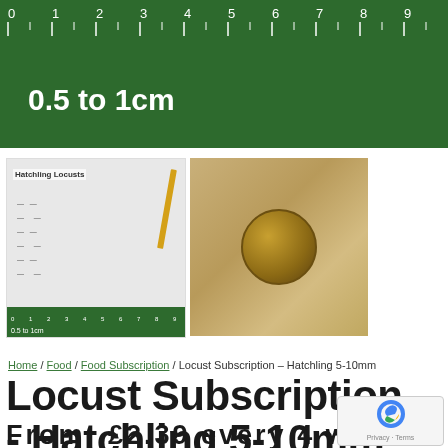[Figure (photo): Green ruler banner showing measurement scale from 0 to 9+ cm, with text '0.5 to 1cm' in white on green background]
[Figure (photo): Two product thumbnail images: left shows a printed guide for 'Hatchling Locusts' with small locust illustrations and a green ruler, right shows a brown coin on a wooden surface for size reference]
Home / Food / Food Subscription / Locust Subscription – Hatchling 5-10mm
Locust Subscription - Hatchling 5-10mm
From: £2.39 every 4 weeks